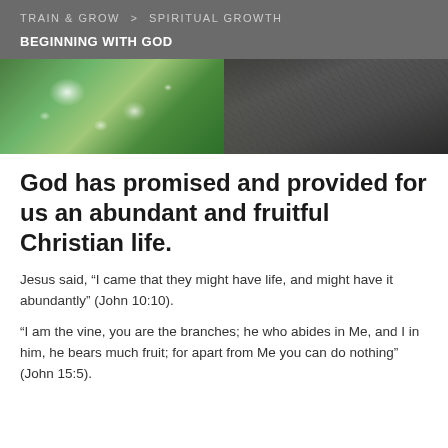TRAIN & GROW > SPIRITUAL GROWTH
BEGINNING WITH GOD
[Figure (photo): Split hero image: left half shows green leaves with water droplets in bright light; right half shows dried dark branches against a muted background.]
God has promised and provided for us an abundant and fruitful Christian life.
Jesus said, “I came that they might have life, and might have it abundantly” (John 10:10).
“I am the vine, you are the branches; he who abides in Me, and I in him, he bears much fruit; for apart from Me you can do nothing” (John 15:5).